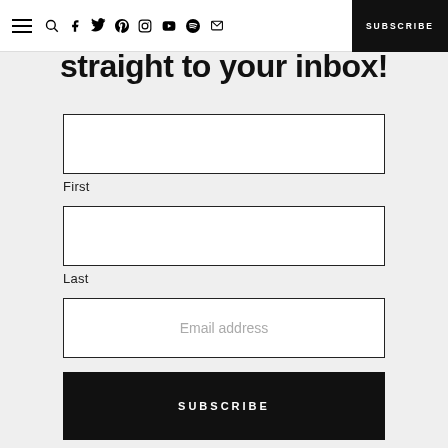Navigation bar with hamburger menu, search, social icons (facebook, twitter, pinterest, instagram, youtube, spotify, email), and SUBSCRIBE button
straight to your inbox!
First
Last
Email address
SUBSCRIBE